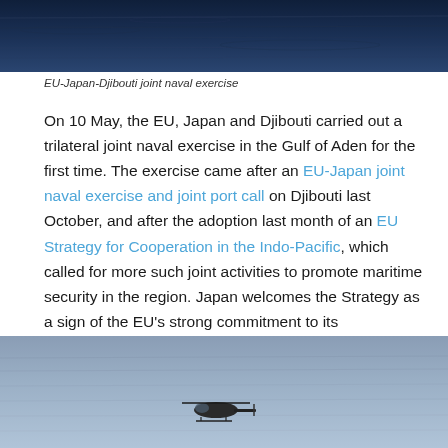[Figure (photo): Aerial view of dark blue ocean water, top cropped photo showing sea surface]
EU-Japan-Djibouti joint naval exercise
On 10 May, the EU, Japan and Djibouti carried out a trilateral joint naval exercise in the Gulf of Aden for the first time. The exercise came after an EU-Japan joint naval exercise and joint port call on Djibouti last October, and after the adoption last month of an EU Strategy for Cooperation in the Indo-Pacific, which called for more such joint activities to promote maritime security in the region. Japan welcomes the Strategy as a sign of the EU's strong commitment to its engagement in the Indo-Pacific.
[Figure (photo): A military helicopter flying low over calm grey-blue ocean water]